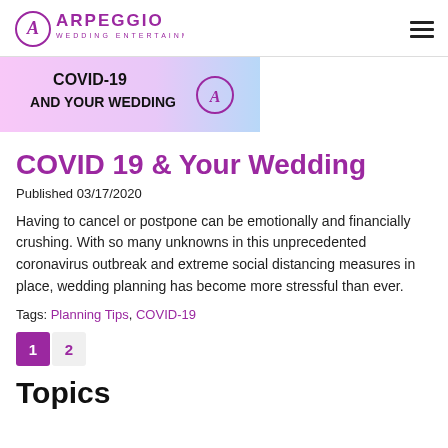Arpeggio Wedding Entertainment
[Figure (illustration): Banner image with pink/purple gradient background showing 'COVID-19 AND YOUR WEDDING' in bold black text with the Arpeggio logo mark]
COVID 19 & Your Wedding
Published 03/17/2020
Having to cancel or postpone can be emotionally and financially crushing. With so many unknowns in this unprecedented coronavirus outbreak and extreme social distancing measures in place, wedding planning has become more stressful than ever.
Tags: Planning Tips, COVID-19
1 2
Topics